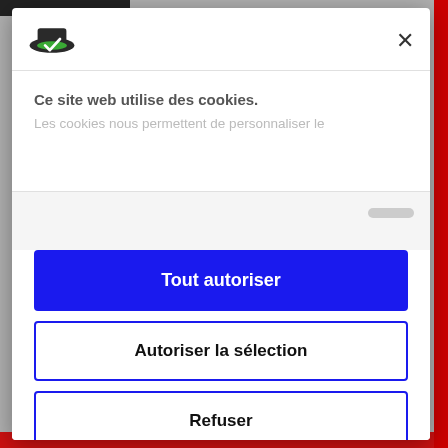[Figure (logo): Cookiebot logo - green/dark oval hat shape]
×
Ce site web utilise des cookies.
Les cookies nous permettent de personnaliser le
Tout autoriser
Autoriser la sélection
Refuser
Powered by Cookiebot by Usercentrics